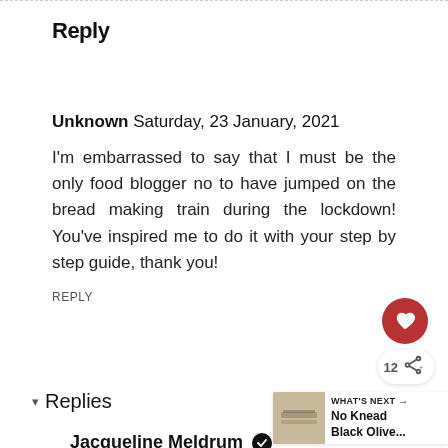Reply
Unknown Saturday, 23 January, 2021
I'm embarrassed to say that I must be the only food blogger no to have jumped on the bread making train during the lockdown! You've inspired me to do it with your step by step guide, thank you!
REPLY
Replies
WHAT'S NEXT → No Knead Black Olive...
Jacqueline Meldrum ✔
Saturday, 30 January, 2021